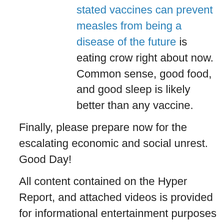stated vaccines can prevent measles from being a disease of the future is eating crow right about now. Common sense, good food, and good sleep is likely better than any vaccine.
Finally, please prepare now for the escalating economic and social unrest. Good Day!
All content contained on the Hyper Report, and attached videos is provided for informational entertainment purposes only. 'Hyper Report' all information to be truthful and reliable; however, the content on this site is provided without any warranty, express or implied. No material here constitutes “Investment advice” nor is it a recommendation to buy or sell any financial instrument, including but not limited to stocks, commodities, corporation, options, bonds, futures, or intrinsically valueless Federal Reserve